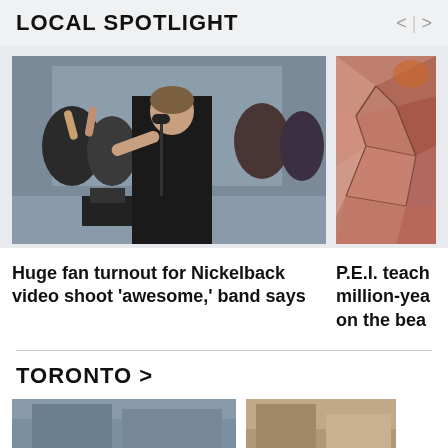LOCAL SPOTLIGHT
[Figure (photo): Man singing into microphone at outdoor event with crowd in background]
[Figure (photo): Close-up of cracked red/pink clay or rock surface]
Huge fan turnout for Nickelback video shoot 'awesome,' band says
P.E.I. teach million-yea on the bea
TORONTO >
[Figure (photo): Partial image at bottom of page showing Toronto news thumbnails]